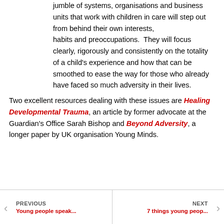jumble of systems, organisations and business units that work with children in care will step out from behind their own interests, habits and preoccupations.  They will focus clearly, rigorously and consistently on the totality of a child's experience and how that can be smoothed to ease the way for those who already have faced so much adversity in their lives.
Two excellent resources dealing with these issues are Healing Developmental Trauma, an article by former advocate at the Guardian's Office Sarah Bishop and Beyond Adversity, a longer paper by UK organisation Young Minds.
PREVIOUS
Young people speak...
NEXT
7 things young peop...